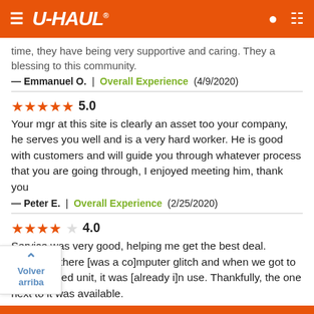U-HAUL
time, they have being very supportive and caring. They a blessing to this community.
— Emmanuel O.  |  Overall Experience  (4/9/2020)
5.0 — Your mgr at this site is clearly an asset too your company, he serves you well and is a very hard worker. He is good with customers and will guide you through whatever process that you are going through, I enjoyed meeting him, thank you
— Peter E.  |  Overall Experience  (2/25/2020)
4.0 — Service was very good, helping me get the best deal. However, there [was a co]mputer glitch and when we got to our assigned unit, it was [already i]n use. Thankfully, the one next to it was available.
— [Name] P.  |  First Impressions  (2/2/2020)